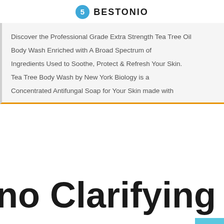BESTONIO
Discover the Professional Grade Extra Strength Tea Tree Oil Body Wash Enriched with A Broad Spectrum of Ingredients Used to Soothe, Protect & Refresh Your Skin. Tea Tree Body Wash by New York Biology is a Concentrated Antifungal Soap for Your Skin made with
no Clarifying Pink